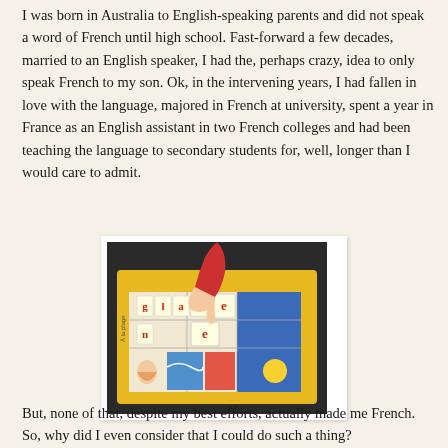I was born in Australia to English-speaking parents and did not speak a word of French until high school. Fast-forward a few decades, married to an English speaker, I had the, perhaps crazy, idea to only speak French to my son. Ok, in the intervening years, I had fallen in love with the language, majored in French at university, spent a year in France as an English assistant in two French colleges and had been teaching the language to secondary students for, well, longer than I would care to admit.
[Figure (photo): A child's hand pointing at letter tiles on a colorful French language learning board game. The board shows letters spelling out words like 'glace' and has colorful illustrated squares at the bottom.]
But, none of that, despite my best efforts, actually made me French. So, why did I even consider that I could do such a thing?